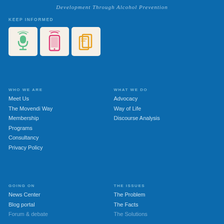Development Through Alcohol Prevention
KEEP INFORMED
[Figure (illustration): Three icon boxes: a green microphone/podcast icon, a pink smartphone icon, and a yellow tablet/device icon, each on a light cream background box]
WHO WE ARE
Meet Us
The Movendi Way
Membership
Programs
Consultancy
Privacy Policy
WHAT WE DO
Advocacy
Way of Life
Discourse Analysis
GOING ON
News Center
Blog portal
THE ISSUES
The Problem
The Facts
The Solutions